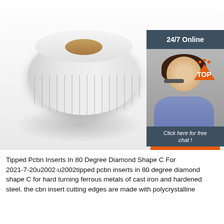[Figure (photo): A roll of white label tape/stickers on a reflective surface, with a 24/7 Online customer service widget showing a woman with a headset on the right side, and a 'Click here for free chat! QUOTATION' button]
Tipped Pcbn Inserts In 80 Degree Diamond Shape C For 2021-7-20u2002·u2002tipped pcbn inserts in 80 degree diamond shape C for hard turning ferrous metals of cast iron and hardened steel. the cbn insert cutting edges are made with polycrystalline